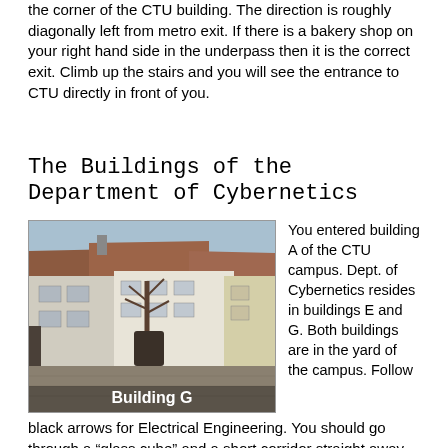the corner of the CTU building. The direction is roughly diagonally left from metro exit. If there is a bakery shop on your right hand side in the underpass then it is the correct exit. Climb up the stairs and you will see the entrance to CTU directly in front of you.
The Buildings of the Department of Cybernetics
[Figure (photo): Photograph of Building G, a historic white building with red-tiled roof in a courtyard, with a bare tree in the center. Caption 'Building G' overlaid at bottom.]
You entered building A of the CTU campus. Dept. of Cybernetics resides in buildings E and G. Both buildings are in the yard of the campus. Follow black arrows for Electrical Engineering. You should go through a "glass cube" and a short corridor straight away.